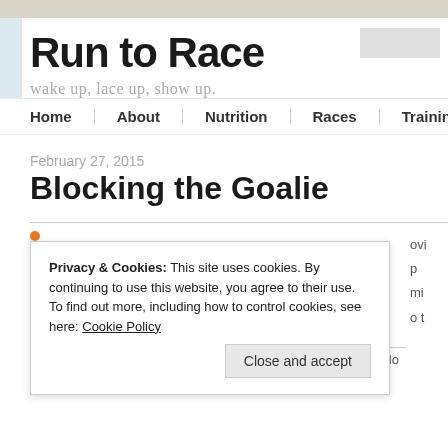Run to Race
wake up, lace up, show up.
Home  About  Nutrition  Races  Training
February 27, 2015
Blocking the Goalie
Privacy & Cookies: This site uses cookies. By continuing to use this website, you agree to their use.
To find out more, including how to control cookies, see here: Cookie Policy
Close and accept
He's had a few good games and honestly did a great job. He blo